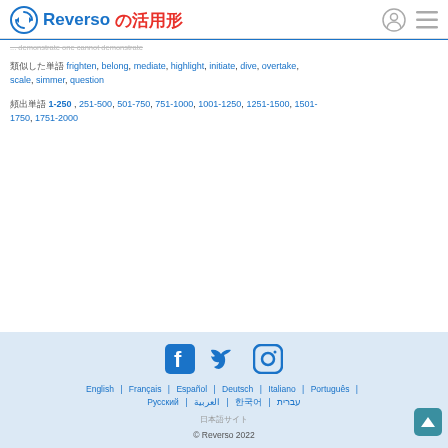Reverso の活用形
... demonstrate one cannot demonstrate
類似した単語 frighten, belong, mediate, highlight, initiate, dive, overtake, scale, simmer, question
頻出単語 1-250 , 251-500, 501-750, 751-1000, 1001-1250, 1251-1500, 1501-1750, 1751-2000
English | Français | Español | Deutsch | Italiano | Português | Русский | العربية | 한국어 | עברית | 日本語 © Reverso 2022